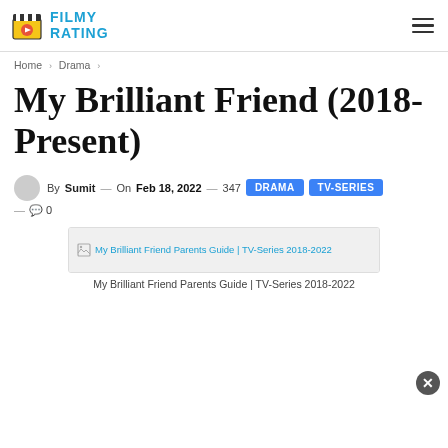FILMY RATING
Home › Drama ›
My Brilliant Friend (2018-Present)
By Sumit — On Feb 18, 2022 — 347 DRAMA TV-SERIES
— 🗨 0
[Figure (photo): My Brilliant Friend Parents Guide | TV-Series 2018-2022 image placeholder]
My Brilliant Friend Parents Guide | TV-Series 2018-2022